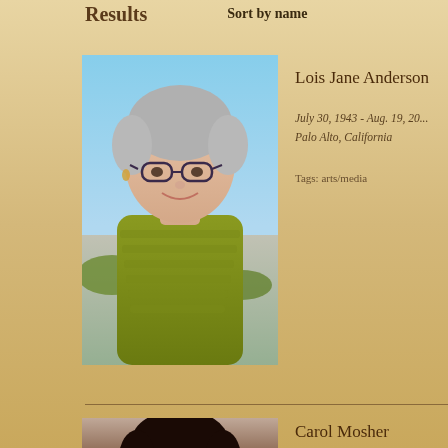Results   Sort by name
[Figure (photo): Portrait photo of Lois Jane Anderson, an older woman with short gray hair, glasses, and a green knitted scarf/sweater, photographed outdoors at a beach]
Lois Jane Anderson
July 30, 1943 - Aug. 19, 20...
Palo Alto, California
Tags: arts/media
[Figure (photo): Portrait photo of Carol Mosher, partially visible, showing dark hair]
Carol Mosher
June 23, 1921 - Aug. 17, 20...